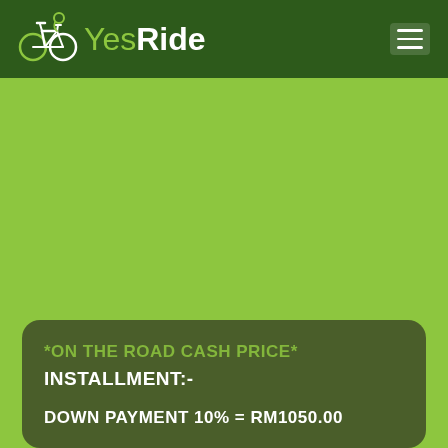YesRide
[Figure (logo): YesRide logo with bicycle icon and brand name]
*ON THE ROAD CASH PRICE*
INSTALLMENT:-
DOWN PAYMENT 10% = RM1050.00